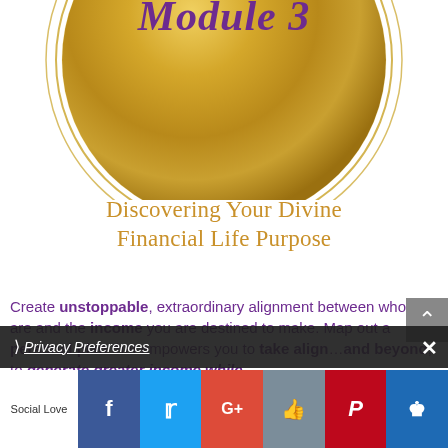[Figure (illustration): Gold metallic circle with double ring outline and cursive purple text 'Module 3' at the top, partially cropped at top of page]
Discovering Your Divine Financial Life Purpose
Create unstoppable, extraordinary alignment between who you are and the income you are destined to make. Map out a personal plan that empowers you to take align... and beyond, to generate greater income while...
Privacy Preferences (overlay bar with close button)
[Figure (other): Social sharing bar at bottom with Social Love label and icons for Facebook, Twitter, Google+, Like/thumbs-up, Pinterest, and crown/Bloglovin]